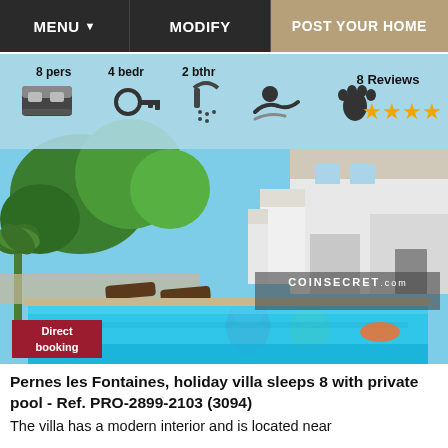MENU ▼   MODIFY   POST YOUR HOME
[Figure (photo): Holiday villa with private swimming pool in Pernes les Fontaines, showing modern white architecture, blue pool, colorful bean bags, and garden with trees. Overlay shows amenity icons (8 pers, 4 bedr, 2 bthr, pool, pets), 8 Reviews with 4.5 stars, COINSECRET.com watermark, and Direct booking badge.]
Pernes les Fontaines, holiday villa sleeps 8 with private pool - Ref. PRO-2899-2103 (3094)
The villa has a modern interior and is located near